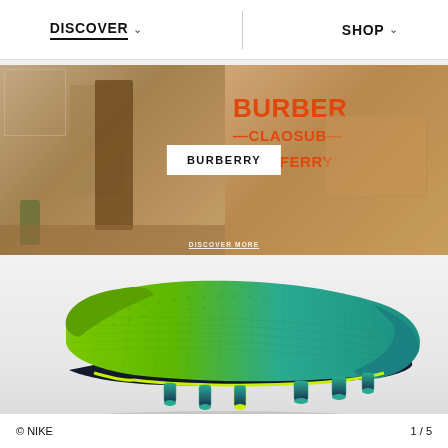DISCOVER   SHOP
[Figure (photo): Burberry fashion campaign banner showing an art studio scene on the left with a woman in a brown coat, and Burberry branded products on the right with orange Burberry text. A white label in the center reads BURBERRY with DISCOVER MORE text at the bottom.]
[Figure (photo): Side view of a green and teal gradient Nike soccer cleat (football boot) with dark studs on a light gray background.]
© NIKE   1 / 5